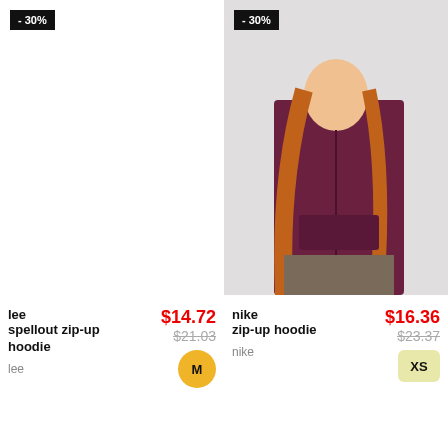[Figure (photo): Left product slot — white background, no model visible, discount badge '-30%']
[Figure (photo): Right product — woman with long red hair wearing a dark burgundy Nike zip-up hoodie and brown pants, on white/grey background, discount badge '-30%']
lee spellout zip-up hoodie
$14.72
$21.03
M
lee
nike zip-up hoodie
$16.36
$23.37
XS
nike